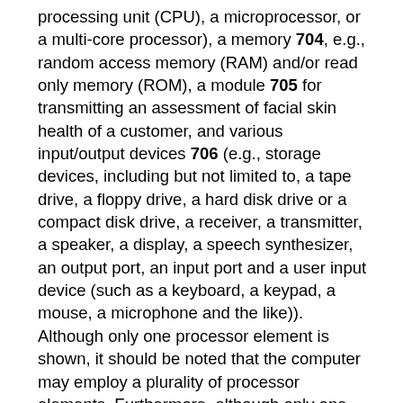processing unit (CPU), a microprocessor, or a multi-core processor), a memory 704, e.g., random access memory (RAM) and/or read only memory (ROM), a module 705 for transmitting an assessment of facial skin health of a customer, and various input/output devices 706 (e.g., storage devices, including but not limited to, a tape drive, a floppy drive, a hard disk drive or a compact disk drive, a receiver, a transmitter, a speaker, a display, a speech synthesizer, an output port, an input port and a user input device (such as a keyboard, a keypad, a mouse, a microphone and the like)). Although only one processor element is shown, it should be noted that the computer may employ a plurality of processor elements. Furthermore, although only one computer is shown in the figure, if the method(s) as discussed above is implemented in a distributed or parallel manner for a particular illustrative example, i.e., the steps of the above method(s) or the entire method(s) are implemented across multiple or parallel computers, then the computer of this figure is intended to represent each of those multiple computers. Furthermore, one or more hardware processors can be utilized in supporting a virtualized or shared computing environment. The virtualized computing